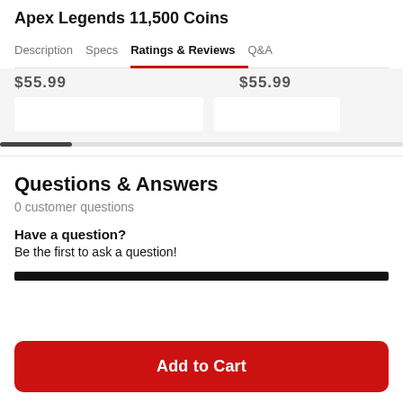Apex Legends 11,500 Coins
Description  Specs  Ratings & Reviews  Q&A
$55.99  $55.99
Questions & Answers
0 customer questions
Have a question?
Be the first to ask a question!
Add to Cart